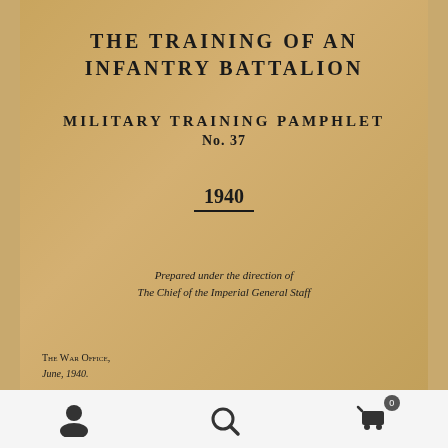THE TRAINING OF AN INFANTRY BATTALION
MILITARY TRAINING PAMPHLET
No. 37
1940
Prepared under the direction of
The Chief of the Imperial General Staff
The War Office,
June, 1940.